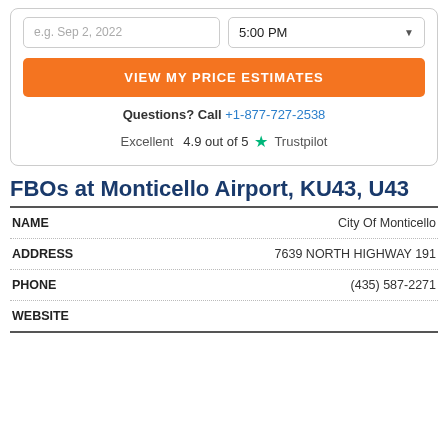[Figure (screenshot): Date input field showing placeholder 'e.g. Sep 2, 2022' and time dropdown showing '5:00 PM' with dropdown arrow]
VIEW MY PRICE ESTIMATES
Questions? Call +1-877-727-2538
Excellent  4.9 out of 5  ★ Trustpilot
FBOs at Monticello Airport, KU43, U43
| NAME |  |
| --- | --- |
| NAME | City Of Monticello |
| ADDRESS | 7639 NORTH HIGHWAY 191 |
| PHONE | (435) 587-2271 |
| WEBSITE |  |